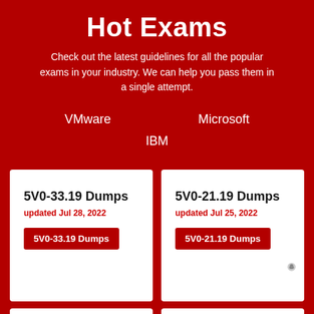Hot Exams
Check out the latest guidelines for all the popular exams in your industry. We can help you pass them in a single attempt.
VMware
Microsoft
IBM
5V0-33.19 Dumps
updated Jul 28, 2022
5V0-33.19 Dumps
5V0-21.19 Dumps
updated Jul 25, 2022
5V0-21.19 Dumps